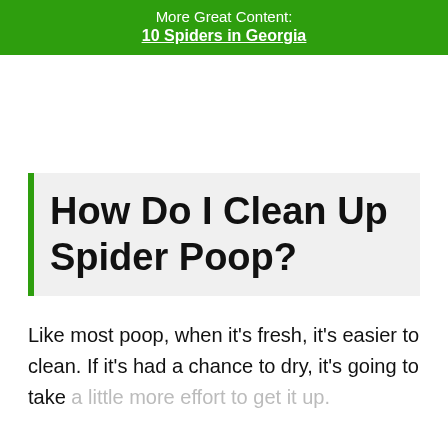More Great Content:
10 Spiders in Georgia
How Do I Clean Up Spider Poop?
Like most poop, when it's fresh, it's easier to clean. If it's had a chance to dry, it's going to take a little more effort to get it up.